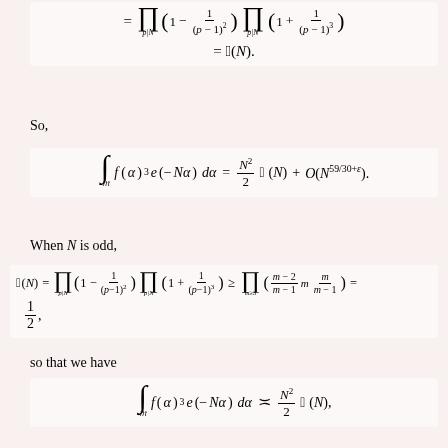So,
When N is odd,
so that we have